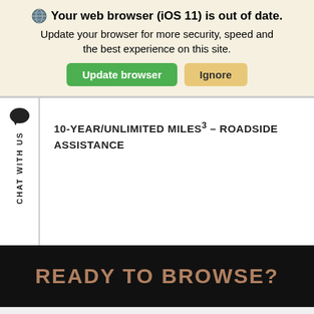🌐 Your web browser (iOS 11) is out of date. Update your browser for more security, speed and the best experience on this site. [Update browser] [Ignore]
10-YEAR/UNLIMITED MILES³ – ROADSIDE ASSISTANCE
CHAT WITH US
READY TO BROWSE?
This site uses cookies. OK